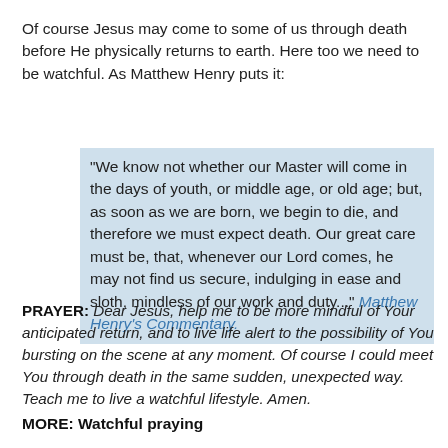Of course Jesus may come to some of us through death before He physically returns to earth. Here too we need to be watchful. As Matthew Henry puts it:
"We know not whether our Master will come in the days of youth, or middle age, or old age; but, as soon as we are born, we begin to die, and therefore we must expect death. Our great care must be, that, whenever our Lord comes, he may not find us secure, indulging in ease and sloth, mindless of our work and duty..." Matthew Henry's Commentary.
PRAYER: Dear Jesus, help me to be more mindful of Your anticipated return, and to live life alert to the possibility of You bursting on the scene at any moment. Of course I could meet You through death in the same sudden, unexpected way. Teach me to live a watchful lifestyle. Amen.
MORE: Watchful praying